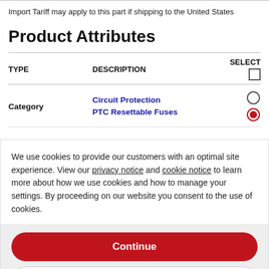Import Tariff may apply to this part if shipping to the United States
Product Attributes
| TYPE | DESCRIPTION | SELECT |
| --- | --- | --- |
| Category | Circuit Protection
PTC Resettable Fuses | ○
● |
We use cookies to provide our customers with an optimal site experience. View our privacy notice and cookie notice to learn more about how we use cookies and how to manage your settings. By proceeding on our website you consent to the use of cookies.
Continue
Exit
Privacy Notice